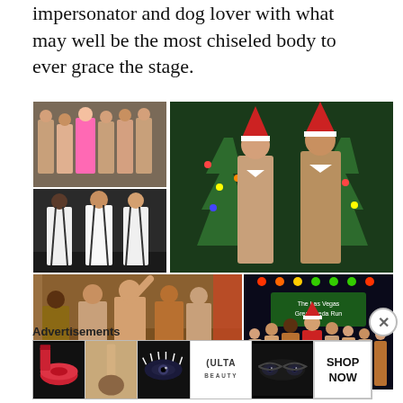impersonator and dog lover with what may well be the most chiseled body to ever grace the stage.
[Figure (photo): Collage of six photos showing shirtless male performers: top-left group photo with shirtless men and a woman in pink; large top-right photo of two shirtless men in Christmas hats and bow ties in front of Christmas trees; middle-left photo of three men in white shirts and suspenders; bottom-left photo of shirtless men celebrating at a bar; bottom-right photo of performers on stage with Las Vegas Great Freda Run banner.]
Advertisements
[Figure (photo): Ulta Beauty advertisement banner showing makeup imagery including red lips, makeup brush, eye makeup, ULTA logo, model eyes, and SHOP NOW text.]